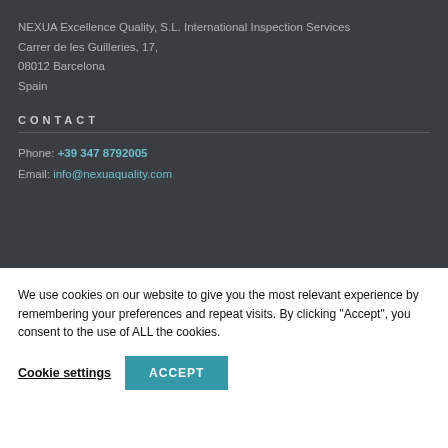NEXUA Excellence Quality, S.L. International Inspection Services
Carrer de les Guilleries, 17,
08012 Barcelona
Spain
CONTACT
Phone: +39 347 8792005
Email: info@nexuaquality.com
We use cookies on our website to give you the most relevant experience by remembering your preferences and repeat visits. By clicking "Accept", you consent to the use of ALL the cookies.
Cookie settings   ACCEPT